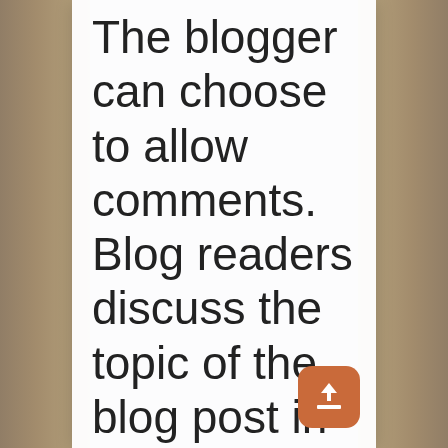The blogger can choose to allow comments. Blog readers discuss the topic of the blog post in the comments section. They
[Figure (other): Orange rounded square button with white upload/tray arrow icon]